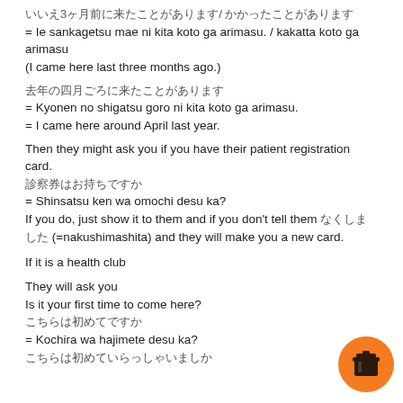いいえ3ヶ月前に来たことがあります/ かかったことがあります
= Ie sankagetsu mae ni kita koto ga arimasu. / kakatta koto ga arimasu
(I came here last three months ago.)
去年の四月ごろに来たことがあります
= Kyonen no shigatsu goro ni kita koto ga arimasu.
= I came here around April last year.
Then they might ask you if you have their patient registration card.
診察券はお持ちですか
= Shinsatsu ken wa omochi desu ka?
If you do, just show it to them and if you don't tell them なくしました (=nakushimashita) and they will make you a new card.
If it is a health club
They will ask you
Is it your first time to come here?
こちらは初めてですか
= Kochira wa hajimete desu ka?
こちらは初めていらっしゃいましか